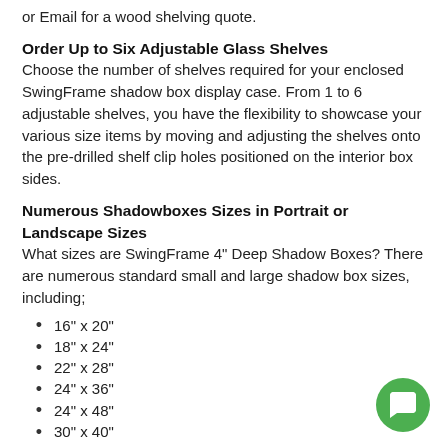or Email for a wood shelving quote.
Order Up to Six Adjustable Glass Shelves
Choose the number of shelves required for your enclosed SwingFrame shadow box display case. From 1 to 6 adjustable shelves, you have the flexibility to showcase your various size items by moving and adjusting the shelves onto the pre-drilled shelf clip holes positioned on the interior box sides.
Numerous Shadowboxes Sizes in Portrait or Landscape Sizes
What sizes are SwingFrame 4" Deep Shadow Boxes? There are numerous standard small and large shadow box sizes, including;
16" x 20"
18" x 24"
22" x 28"
24" x 36"
24" x 48"
30" x 40"
36" x 48"
48" x 96"
Wh...